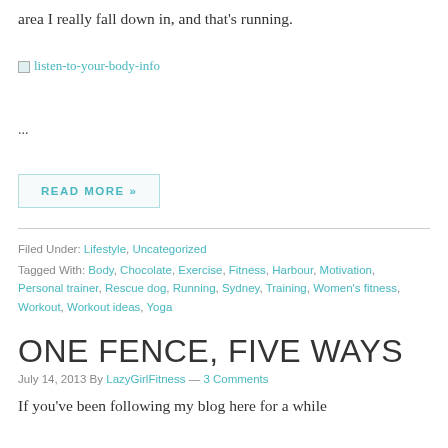area I really fall down in, and that's running.
[Figure (illustration): Broken image placeholder with link text 'listen-to-your-body-info']
...
READ MORE »
Filed Under: Lifestyle, Uncategorized
Tagged With: Body, Chocolate, Exercise, Fitness, Harbour, Motivation, Personal trainer, Rescue dog, Running, Sydney, Training, Women's fitness, Workout, Workout ideas, Yoga
ONE FENCE, FIVE WAYS
July 14, 2013 By LazyGirlFitness — 3 Comments
If you've been following my blog here for a while